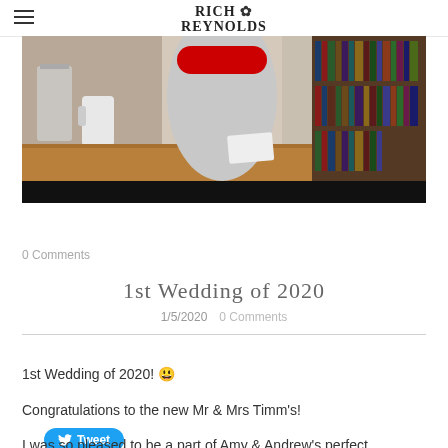Rich Reynolds
[Figure (photo): A person in a grey t-shirt standing behind a wooden counter/desk with a coffee press and mug on the left and a bookshelf with DVDs/books on the right. A red subscribe button is visible. The bottom portion of the image is dark/black.]
Tweet
0 Comments
1st Wedding of 2020
1/5/2020   0 Comments
1st Wedding of 2020! 😊
Congratulations to the new Mr & Mrs Timm's!
I was so pleased to be a part of Amy & Andrew's perfect